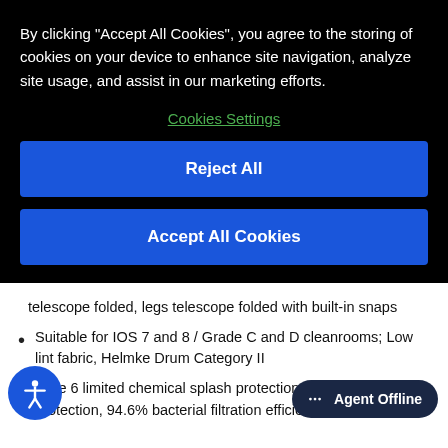By clicking "Accept All Cookies", you agree to the storing of cookies on your device to enhance site navigation, analyze site usage, and assist in our marketing efforts.
Cookies Settings
Reject All
Accept All Cookies
telescope folded, legs telescope folded with built-in snaps
Suitable for IOS 7 and 8 / Grade C and D cleanrooms; Low lint fabric, Helmke Drum Category II
Type 6 limited chemical splash protection, Type 5 particle protection, 94.6% bacterial filtration efficiency